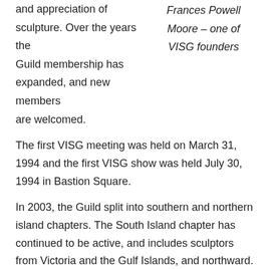and appreciation of sculpture. Over the years the Guild membership has expanded, and new members are welcomed.
Frances Powell Moore – one of VISG founders
The first VISG meeting was held on March 31, 1994 and the first VISG show was held July 30, 1994 in Bastion Square.
In 2003, the Guild split into southern and northern island chapters. The South Island chapter has continued to be active, and includes sculptors from Victoria and the Gulf Islands, and northward.
We are proud of our current members and celebrate their success in our group shows, and their individual endeavours. See the Upcoming Events and Members pages for details. We also acknowledge our alumni who include: Herbert (Ari) Schafer, Derek Rowe, Linda